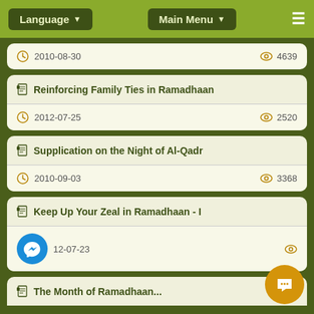Language | Main Menu
2010-08-30 | 4639 views
Reinforcing Family Ties in Ramadhaan | 2012-07-25 | 2520 views
Supplication on the Night of Al-Qadr | 2010-09-03 | 3368 views
Keep Up Your Zeal in Ramadhaan - I | 12-07-23
The Month of Ramadhaan...